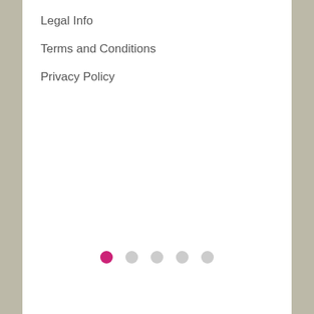Legal Info
Terms and Conditions
Privacy Policy
[Figure (other): Pagination dots: one active pink/magenta dot followed by four grey dots]
© 2007-2022, www.Mp3va.com
View desktop version
Accepting credit cards
Your information is 100% secure